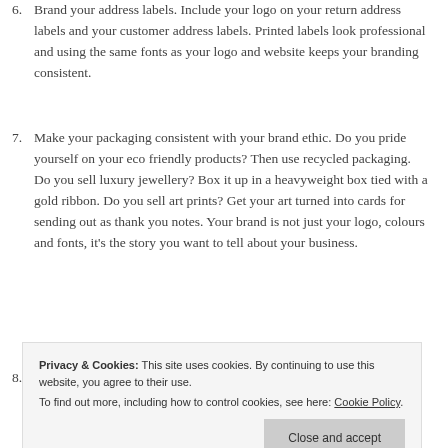6. Brand your address labels. Include your logo on your return address labels and your customer address labels. Printed labels look professional and using the same fonts as your logo and website keeps your branding consistent.
7. Make your packaging consistent with your brand ethic. Do you pride yourself on your eco friendly products? Then use recycled packaging. Do you sell luxury jewellery? Box it up in a heavyweight box tied with a gold ribbon. Do you sell art prints? Get your art turned into cards for sending out as thank you notes. Your brand is not just your logo, colours and fonts, it's the story you want to tell about your business.
8. Include your branding on your outer packaging. It's ... relevant message to stamp the outer box or
Privacy & Cookies: This site uses cookies. By continuing to use this website, you agree to their use. To find out more, including how to control cookies, see here: Cookie Policy